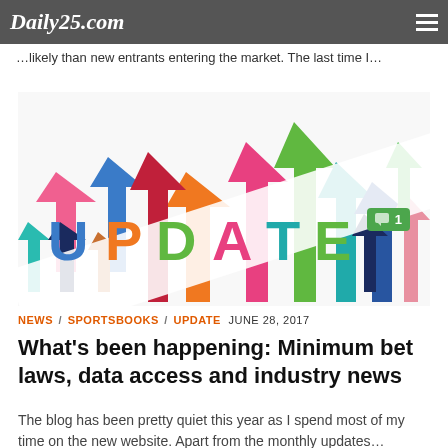Daily25.com
…likely than new entrants entering the market. The last time I…
[Figure (illustration): Colorful upward arrows of various colors (pink, blue, red, green, teal, orange, dark blue) with the word UPDATE written diagonally in large bold letters across the center. A green comment badge with a speech bubble icon and the number 1 appears in the top right corner.]
NEWS / SPORTSBOOKS / UPDATE  JUNE 28, 2017
What's been happening: Minimum bet laws, data access and industry news
The blog has been pretty quiet this year as I spend most of my time on the new website. Apart from the monthly updates…